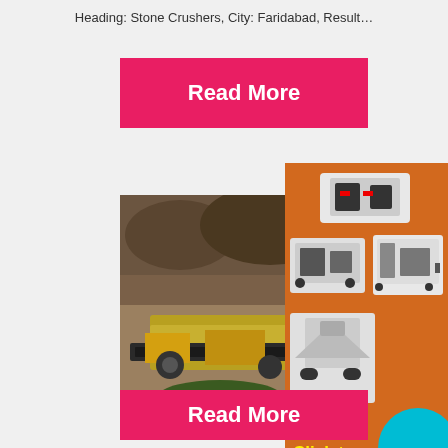Heading: Stone Crushers, City: Faridabad, Result…
Read More
[Figure (photo): Stone crusher machinery at a quarry site with conveyor belts and yellow equipment]
[Figure (illustration): Advertisement banner showing stone crushing machines on orange background with cyan circle, text: Enjoy 3%, Click t..., Enquiry, limingjlmofen@sina.com]
Read More